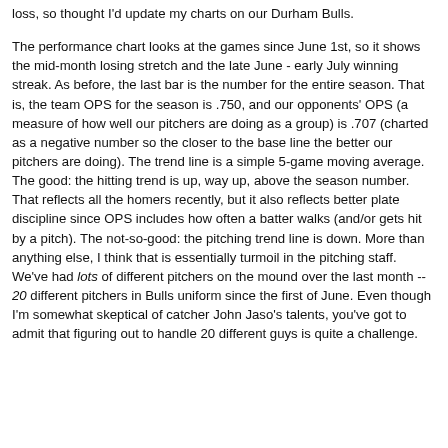loss, so thought I'd update my charts on our Durham Bulls.
The performance chart looks at the games since June 1st, so it shows the mid-month losing stretch and the late June - early July winning streak. As before, the last bar is the number for the entire season. That is, the team OPS for the season is .750, and our opponents' OPS (a measure of how well our pitchers are doing as a group) is .707 (charted as a negative number so the closer to the base line the better our pitchers are doing). The trend line is a simple 5-game moving average. The good: the hitting trend is up, way up, above the season number. That reflects all the homers recently, but it also reflects better plate discipline since OPS includes how often a batter walks (and/or gets hit by a pitch). The not-so-good: the pitching trend line is down. More than anything else, I think that is essentially turmoil in the pitching staff. We've had lots of different pitchers on the mound over the last month -- 20 different pitchers in Bulls uniform since the first of June. Even though I'm somewhat skeptical of catcher John Jaso's talents, you've got to admit that figuring out to handle 20 different guys is quite a challenge.